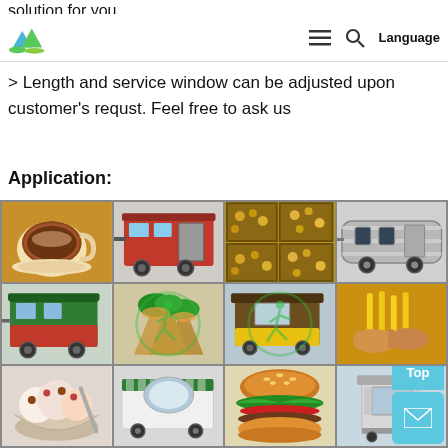solution for you.
[Logo] ≡ 🔍 Language
> Length and service window can be adjusted upon customer's requst. Feel free to ask us
Application:
[Figure (photo): 3x4 grid of food trailer application images: coffee cup, red food trailer, nuts/snacks display, silver airstream trailer, green/red food trailer, wraps/burritos, brown food trailer, hands with fries, desserts bowl, green awning trailer, hamburger, small kiosk trailer. Watermark of running person logo overlaid on center cells.]